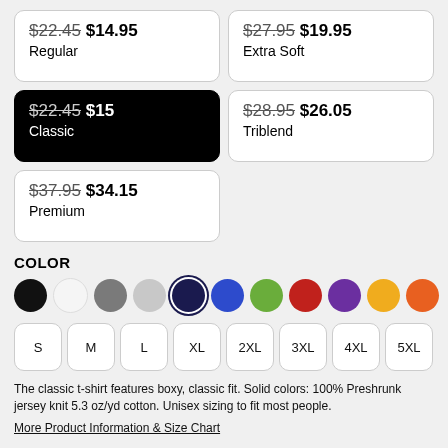$22.45 $14.95 Regular
$27.95 $19.95 Extra Soft
$22.45 $15 Classic (selected)
$28.95 $26.05 Triblend
$37.95 $34.15 Premium
COLOR
[Figure (infographic): Color swatches: black, white, gray, light gray, navy (selected), blue, green, red, purple, yellow, orange]
[Figure (infographic): Size buttons: S, M, L, XL, 2XL, 3XL, 4XL, 5XL]
The classic t-shirt features boxy, classic fit. Solid colors: 100% Preshrunk jersey knit 5.3 oz/yd cotton. Unisex sizing to fit most people.
More Product Information & Size Chart